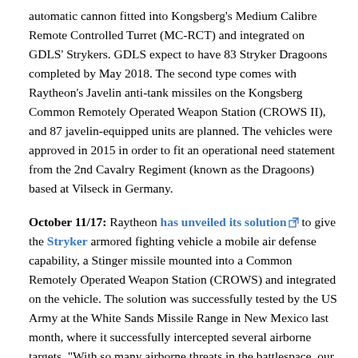automatic cannon fitted into Kongsberg's Medium Calibre Remote Controlled Turret (MC-RCT) and integrated on GDLS' Strykers. GDLS expect to have 83 Stryker Dragoons completed by May 2018. The second type comes with Raytheon's Javelin anti-tank missiles on the Kongsberg Common Remotely Operated Weapon Station (CROWS II), and 87 javelin-equipped units are planned. The vehicles were approved in 2015 in order to fit an operational need statement from the 2nd Cavalry Regiment (known as the Dragoons) based at Vilseck in Germany.
October 11/17: Raytheon has unveiled its solution to give the Stryker armored fighting vehicle a mobile air defense capability, a Stinger missile mounted into a Common Remotely Operated Weapon Station (CROWS) and integrated on the vehicle. The solution was successfully tested by the US Army at the White Sands Missile Range in New Mexico last month, where it successfully intercepted several airborne targets. "With so many airborne threats in the battlespace, our ground...